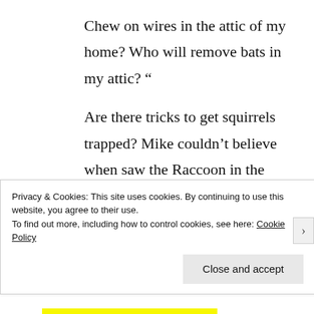Chew on wires in the attic of my home? Who will remove bats in my attic? “
Are there tricks to get squirrels trapped? Mike couldn’t believe when saw the Raccoon in the trash.” It was in the trash can and it scared me about as much as I did it”. I have tried to trap, but the
Privacy & Cookies: This site uses cookies. By continuing to use this website, you agree to their use.
To find out more, including how to control cookies, see here: Cookie Policy